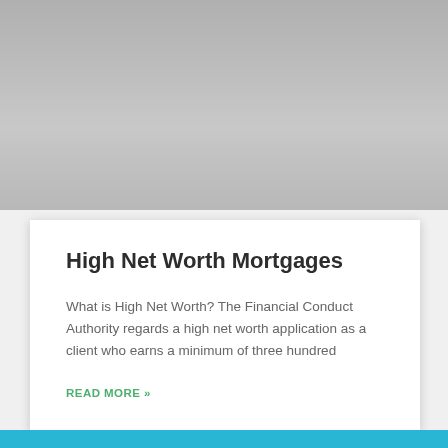[Figure (photo): Gray gradient image area at the top of the page]
High Net Worth Mortgages
What is High Net Worth? The Financial Conduct Authority regards a high net worth application as a client who earns a minimum of three hundred
READ MORE »